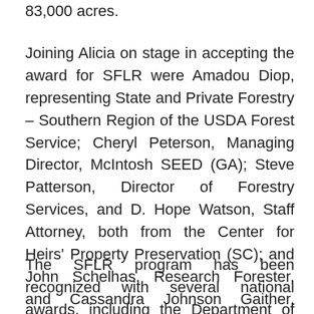83,000 acres.
Joining Alicia on stage in accepting the award for SFLR were Amadou Diop, representing State and Private Forestry – Southern Region of the USDA Forest Service; Cheryl Peterson, Managing Director, McIntosh SEED (GA); Steve Patterson, Director of Forestry Services, and D. Hope Watson, Staff Attorney, both from the Center for Heirs' Property Preservation (SC); and John Schelhas, Research Forester, and Cassandra Johnson Gaither, Research Social Scientist, both with the Forest Service's Southern Research Station.
The SFLR program has been recognized with several national awards, including the Department of Housing and Urban Development (HUD) Secretary's Award for